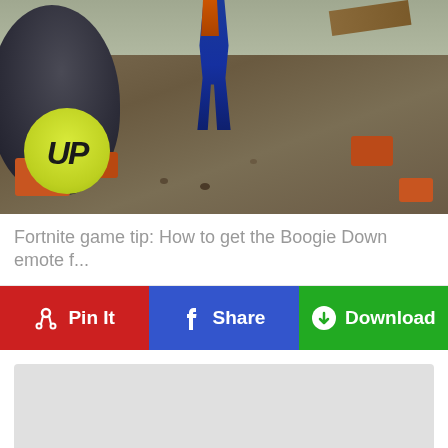[Figure (screenshot): Fortnite game screenshot showing a character in a blue outfit standing among rocks and debris. A yellow-green circular logo with 'UP' text is overlaid on the lower-left of the image.]
Fortnite game tip: How to get the Boogie Down emote f...
Pin It
Share
Download
[Figure (other): Gray advertisement placeholder block]